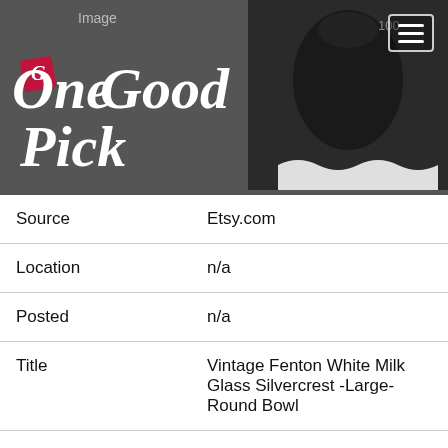[Figure (photo): OneGoodPick website header with logo on dark gray background and product photo (dark glass item) in top right corner with hamburger menu button]
| Field | Value |
| --- | --- |
| Source | Etsy.com |
| Location | n/a |
| Posted | n/a |
| Title | Vintage Fenton White Milk Glass Silvercrest -Large- Round Bowl |
| Price | $90.00 |
| Image | (photo of white milk glass bowl) |
| Source | eBay.com |